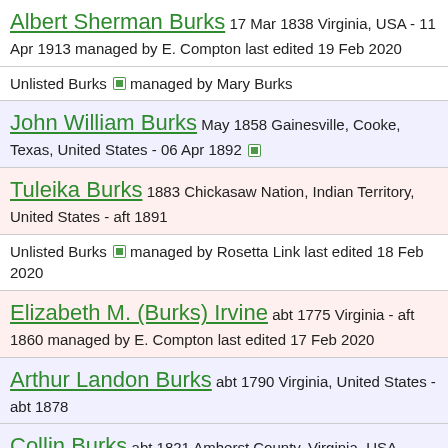Albert Sherman Burks 17 Mar 1838 Virginia, USA - 11 Apr 1913 managed by E. Compton last edited 19 Feb 2020
Unlisted Burks [icon] managed by Mary Burks
John William Burks May 1858 Gainesville, Cooke, Texas, United States - 06 Apr 1892 [icon]
Tuleika Burks 1883 Chickasaw Nation, Indian Territory, United States - aft 1891
Unlisted Burks [icon] managed by Rosetta Link last edited 18 Feb 2020
Elizabeth M. (Burks) Irvine abt 1775 Virginia - aft 1860 managed by E. Compton last edited 17 Feb 2020
Arthur Landon Burks abt 1790 Virginia, United States - abt 1878
Collin Burks abt 1821 Amherst County, Virginia, USA